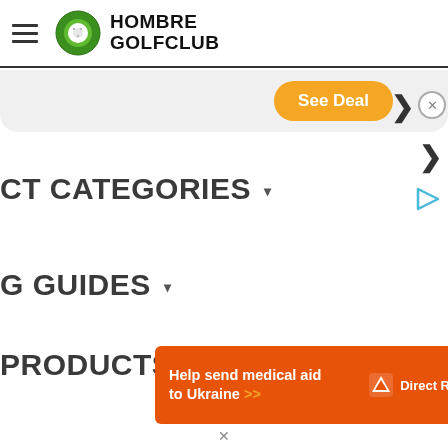Hombre Golf Club
[Figure (screenshot): See Deal advertisement banner with orange button and close/chevron controls]
CT CATEGORIES ▾
G GUIDES ▾
PRODUCTS ▾
[Figure (infographic): Direct Relief advertisement: Help send medical aid to Ukraine >> with Direct Relief logo on orange background]